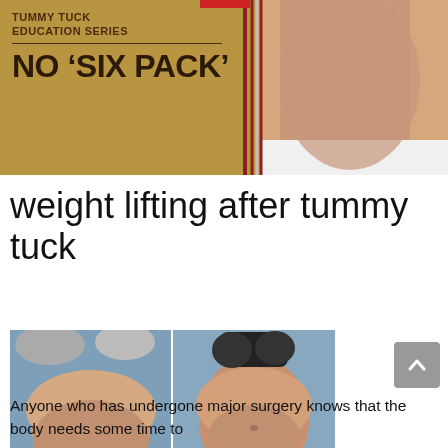[Figure (photo): Advertisement banner for Tummy Tuck Education Series showing text 'NO SIX PACK' on a gold/tan background with a photo of a woman's torso on the right side and diagonal stripes]
weight lifting after tummy tuck
[Figure (photo): Before and after photos showing a woman's torso: left side shows excess abdominal fat, right side shows flatter abdomen after tummy tuck procedure]
Anyone who has undergone major surgery knows that the body needs some time to